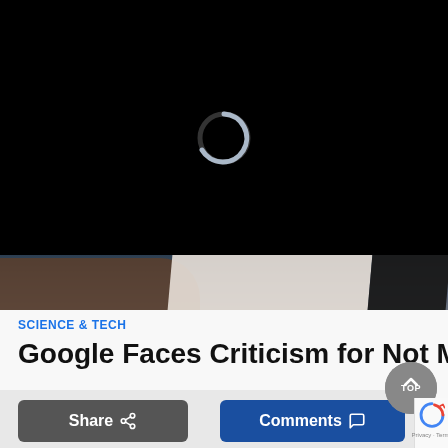[Figure (screenshot): Dark video player area with loading spinner (circular progress indicator) on black background, with bottom portion showing a blurred scene of a hand and screen]
SCIENCE & TECH
Google Faces Criticism for Not Making Trump
Share
Comments
TOP
Privacy · Terms